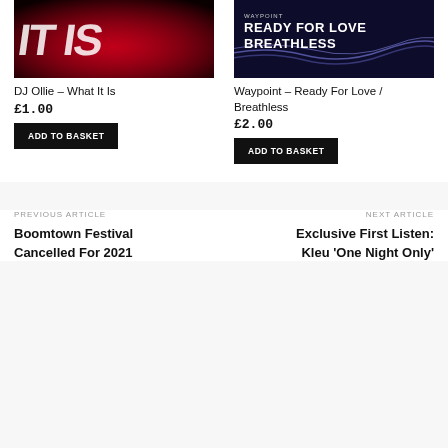[Figure (photo): Album cover for DJ Ollie – What It Is, red and black design with large text]
DJ Ollie – What It Is
£1.00
ADD TO BASKET
[Figure (photo): Album cover for Waypoint – Ready For Love / Breathless, dark blue with colorful wave lines]
Waypoint – Ready For Love / Breathless
£2.00
ADD TO BASKET
PREVIOUS ARTICLE
Boomtown Festival Cancelled For 2021
NEXT ARTICLE
Exclusive First Listen: Kleu 'One Night Only'